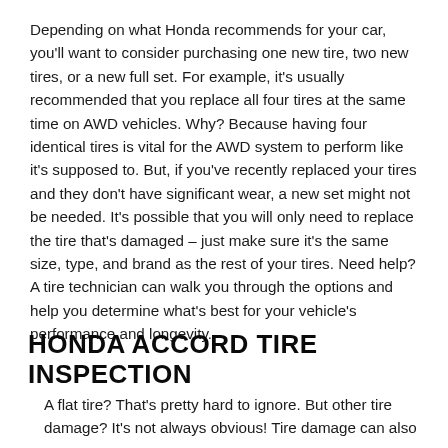Depending on what Honda recommends for your car, you'll want to consider purchasing one new tire, two new tires, or a new full set. For example, it's usually recommended that you replace all four tires at the same time on AWD vehicles. Why? Because having four identical tires is vital for the AWD system to perform like it's supposed to. But, if you've recently replaced your tires and they don't have significant wear, a new set might not be needed. It's possible that you will only need to replace the tire that's damaged – just make sure it's the same size, type, and brand as the rest of your tires. Need help? A tire technician can walk you through the options and help you determine what's best for your vehicle's performance and longevity.
HONDA ACCORD TIRE INSPECTION
A flat tire? That's pretty hard to ignore. But other tire damage? It's not always obvious! Tire damage can also